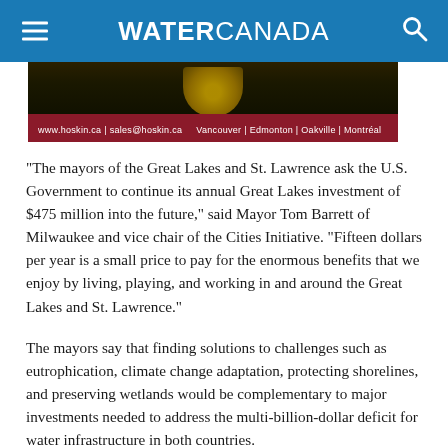WATER CANADA
[Figure (photo): Advertisement image for Hoskin Scientific with dark background showing yellow/gold equipment. Red bar at bottom reads: www.hoskin.ca | sales@hoskin.ca   Vancouver | Edmonton | Oakville | Montréal]
“The mayors of the Great Lakes and St. Lawrence ask the U.S. Government to continue its annual Great Lakes investment of $475 million into the future,” said Mayor Tom Barrett of Milwaukee and vice chair of the Cities Initiative. “Fifteen dollars per year is a small price to pay for the enormous benefits that we enjoy by living, playing, and working in and around the Great Lakes and St. Lawrence.”
The mayors say that finding solutions to challenges such as eutrophication, climate change adaptation, protecting shorelines, and preserving wetlands would be complementary to major investments needed to address the multi-billion-dollar deficit for water infrastructure in both countries.